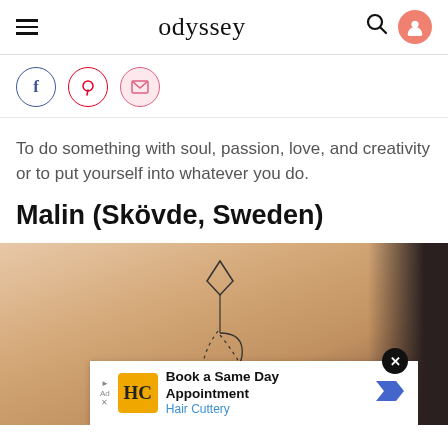odyssey
[Figure (other): Social share buttons: Facebook (blue circle), Pinterest (red circle), email/envelope (pink circle)]
To do something with soul, passion, love, and creativity or to put yourself into whatever you do.
Malin (Skövde, Sweden)
[Figure (photo): Close-up photo of a tattoo on skin showing a small arrow-like design with dotted curved lines. An advertisement banner overlays the bottom: 'Book a Same Day Appointment – Hair Cuttery']